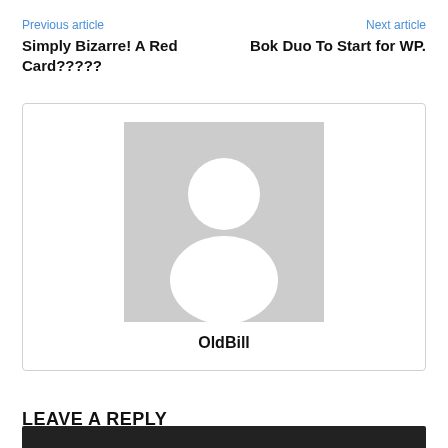Previous article
Next article
Simply Bizarre! A Red Card?????
Bok Duo To Start for WP.
[Figure (illustration): Default user avatar placeholder: a gray square with a white silhouette of a person (circle head, rounded body)]
OldBill
LEAVE A REPLY